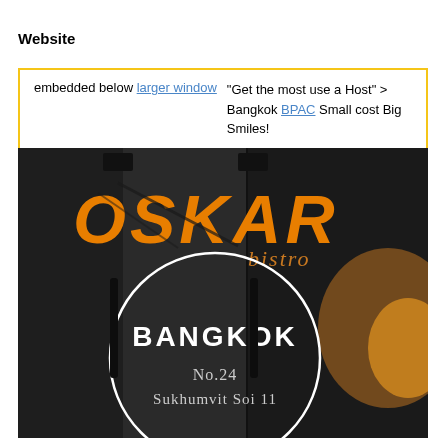Website
embedded below larger window  "Get the most use a Host" > Bangkok BPAC Small cost Big Smiles!
[Figure (photo): Photo of Oskar Bistro Bangkok restaurant logo on dark metal door background with circle overlay showing BANGKOK No.24 Sukhumvit Soi 11]